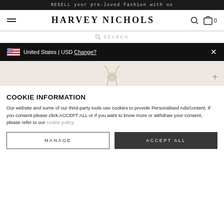RESELL your pre-loved fashion with us
[Figure (screenshot): Harvey Nichols website navigation bar with hamburger menu, brand name, search icon, and bag icon with 0 items]
[Figure (screenshot): Search bar row with magnifying glass icon and SEARCH text]
[Figure (screenshot): Geo-location black banner showing US flag, United States | USD Change? with X close button]
[Figure (photo): Partial product image on beige background with a plus button in the corner]
COOKIE INFORMATION
Our website and some of our third-party tools use cookies to provide Personalised Ads/content. If you consent please click ACCEPT ALL or if you want to know more or withdraw your consent, please refer to our cookie policy.
MANAGE | ACCEPT ALL